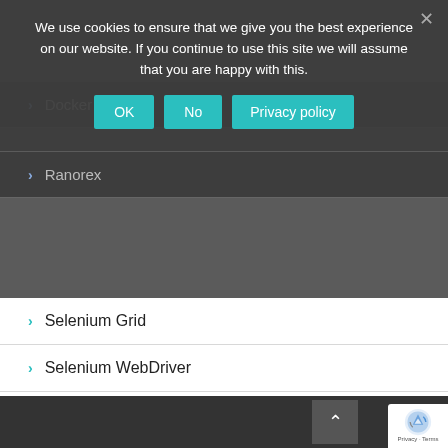We use cookies to ensure that we give you the best experience on our website. If you continue to use this site we will assume that you are happy with this.
> Docker
> Ranorex
> Selenium Grid
> Selenium WebDriver
> SpecFlow
> UFT
> Videos